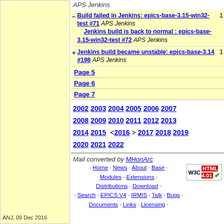APS Jenkins
– Build failed in Jenkins: epics-base-3.15-win32-test #71 APS Jenkins Jenkins build is back to normal : epics-base-3.15-win32-test #72 APS Jenkins  1
+ Jenkins build became unstable: epics-base-3.14 #198 APS Jenkins  1
Page 5
Page 6
Page 7
2002 2003 2004 2005 2006 2007 2008 2009 2010 2011 2012 2013 2014 2015 <2016> 2017 2018 2019 2020 2021 2022
Mail converted by MHonArc
· Home · News · About · Base · Modules · Extensions · Distributions · Download · · Search · EPICS V4 · IRMIS · Talk · Bugs · Documents · Links · Licensing ·
ANJ, 09 Dec 2016